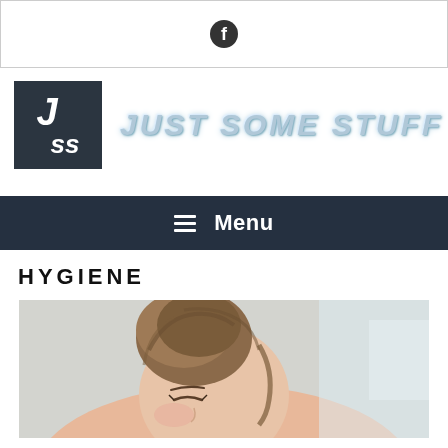Facebook social bar
[Figure (logo): JSS logo — dark square with italic white JSS text — and 'JUST SOME STUFF' brand name in light blue metallic italic lettering]
Menu navigation bar
HYGIENE
[Figure (photo): Close-up photo of a woman with brown hair in a messy bun, eyes closed, resting on a surface with a blurred light background]